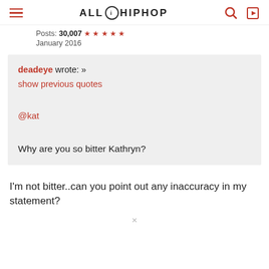ALL HIP HOP
Posts: 30,007 ★★★★★
January 2016
deadeye wrote: »
show previous quotes

@kat

Why are you so bitter Kathryn?
I'm not bitter..can you point out any inaccuracy in my statement?